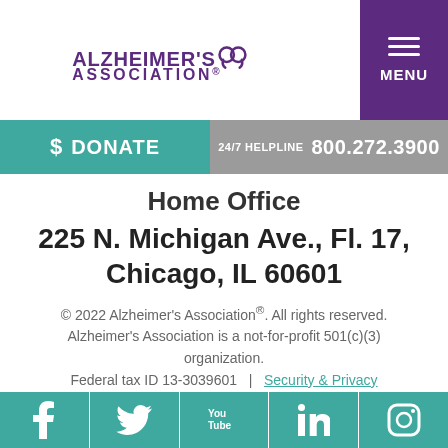[Figure (logo): Alzheimer's Association logo with brain/ribbon icon and organization name in purple]
$ DONATE
24/7 HELPLINE  800.272.3900
Home Office
225 N. Michigan Ave., Fl. 17, Chicago, IL 60601
© 2022 Alzheimer's Association®. All rights reserved. Alzheimer's Association is a not-for-profit 501(c)(3) organization. Federal tax ID 13-3039601  |  Security & Privacy Policy  |  alz.org  Donations are tax-deductible.
[Figure (infographic): Social media icons bar: Facebook, Twitter, YouTube, LinkedIn, Instagram on teal background]